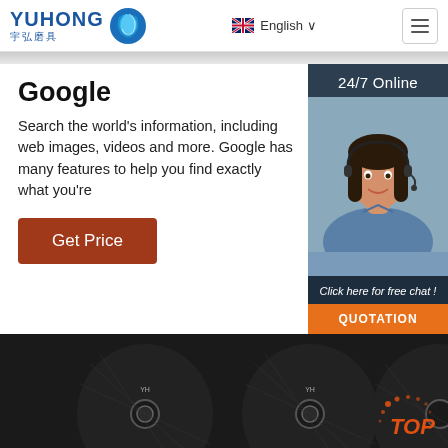[Figure (logo): Yuhong 宇弘磨具 logo with blue wave/globe icon]
English ∨
24/7 Online
[Figure (photo): Customer service agent woman with headset smiling]
Google
Search the world's information, including web images, videos and more. Google has many features to help you find exactly what you're
Get Price
Click here for free chat !
QUOTATION
[Figure (photo): Three black grinding/cutting discs with Yuhong branding and TOP logo in bottom right]